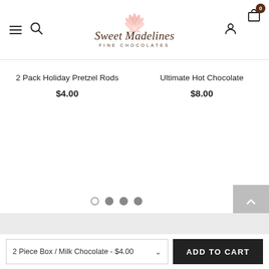[Figure (logo): Sweet Madelines Fine Chocolates logo with pink shell/fan shape above the script text]
2 Pack Holiday Pretzel Rods
$4.00
Ultimate Hot Chocolate
$8.00
[Figure (other): Pagination dots: one empty circle and three filled gray circles]
2 Piece Box / Milk Chocolate - $4.00
ADD TO CART